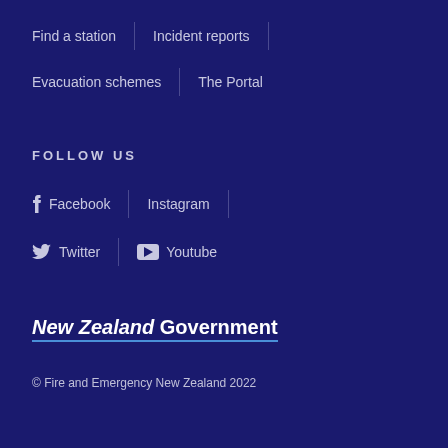Find a station
Incident reports
Evacuation schemes
The Portal
FOLLOW US
Facebook
Instagram
Twitter
Youtube
[Figure (logo): New Zealand Government logo with italic 'New Zealand' and 'Government' text, underlined]
© Fire and Emergency New Zealand 2022